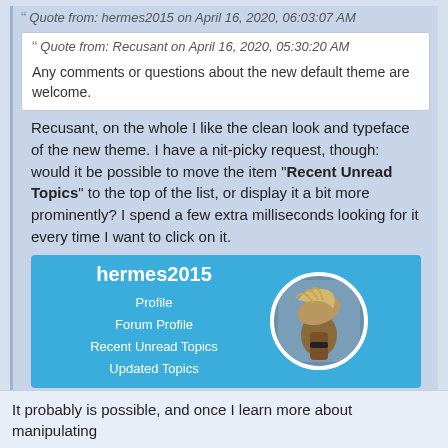Quote from: hermes2015 on April 16, 2020, 06:03:07 AM
Quote from: Recusant on April 16, 2020, 05:30:20 AM
Any comments or questions about the new default theme are welcome.
Recusant, on the whole I like the clean look and typeface of the new theme. I have a nit-picky request, though: would it be possible to move the item "Recent Unread Topics" to the top of the list, or display it a bit more prominently? I spend a few extra milliseconds looking for it every time I want to click on it.
[Figure (screenshot): User card for hermes2015 on a blue background showing username, Profile, Forum Profile, Recent Unread Topics, Updated Topics links, and a circular avatar image.]
It probably is possible, and once I learn more about manipulating